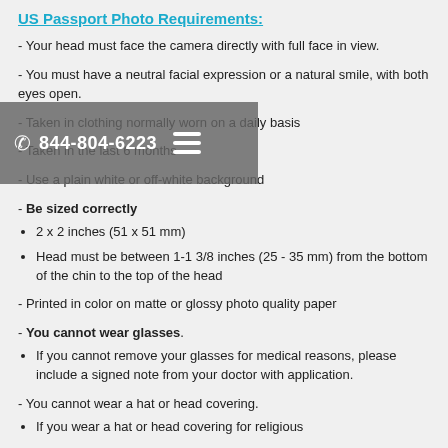US Passport Photo Requirements:
- Your head must face the camera directly with full face in view.
- You must have a neutral facial expression or a natural smile, with both eyes open.
- Taken in clothing normally worn on a daily basis
- Taken in the last 6 months
- Use a plain white or off-white background
- Be sized correctly
2 x 2 inches (51 x 51 mm)
Head must be between 1-1 3/8 inches (25 - 35 mm) from the bottom of the chin to the top of the head
- Printed in color on matte or glossy photo quality paper
- You cannot wear glasses.
If you cannot remove your glasses for medical reasons, please include a signed note from your doctor with application.
- You cannot wear a hat or head covering.
If you wear a hat or head covering for religious